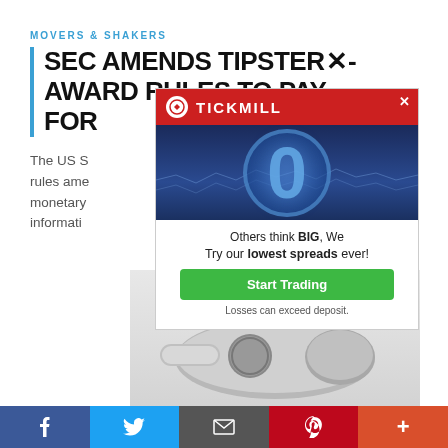MOVERS & SHAKERS
SEC AMENDS TIPSTER-AWARD RULES TO PAY FOR
The US S... oted new rules ame... monetary... e information... aws.
[Figure (photo): Tickmill advertisement overlay showing a large blue zero with water/ocean background, tagline 'Others think BIG, We Try our lowest spreads ever!' with a green Start Trading button and disclaimer 'Losses can exceed deposit.']
[Figure (photo): A silver metallic whistle on a light grey background]
Social share bar with Facebook, Twitter, Email, Pinterest, and More buttons